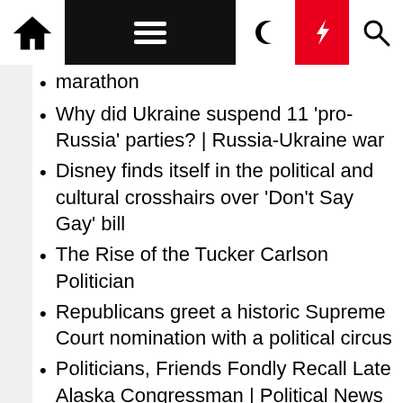Navigation bar with home, menu, moon, bolt, and search icons
marathon
Why did Ukraine suspend 11 'pro-Russia' parties? | Russia-Ukraine war
Disney finds itself in the political and cultural crosshairs over 'Don't Say Gay' bill
The Rise of the Tucker Carlson Politician
Republicans greet a historic Supreme Court nomination with a political circus
Politicians, Friends Fondly Recall Late Alaska Congressman | Political News
Democrats link Ukraine's democracy struggle to one